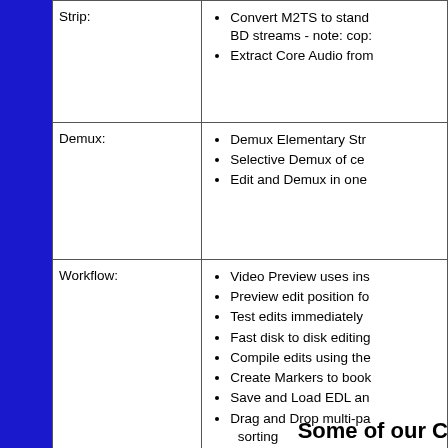| Feature | Details |
| --- | --- |
| Strip: | • Convert M2TS to standard BD streams - note: cop...
• Extract Core Audio from... |
| Demux: | • Demux Elementary Str...
• Selective Demux of ce...
• Edit and Demux in one... |
| Workflow: | • Video Preview uses ins...
• Preview edit position fo...
• Test edits immediately...
• Fast disk to disk editing...
• Compile edits using the...
• Create Markers to book...
• Save and Load EDL an...
• Drag and Drop multi-pa... sorting |
Some of our C